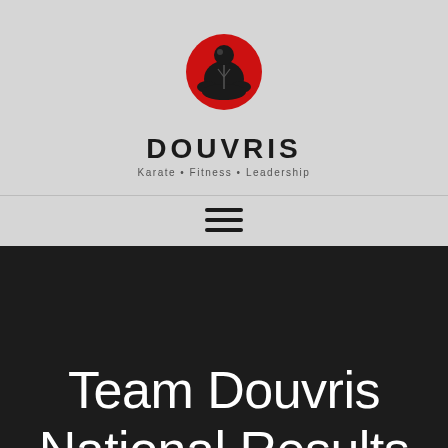[Figure (logo): Douvris Karate logo: a meditating martial artist in black and white with a red circle background, above the text DOUVRIS and tagline Karate • Fitness • Leadership]
Team Douvris National Results